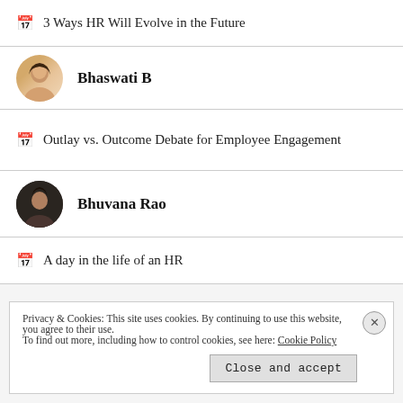3 Ways HR Will Evolve in the Future
Bhaswati B
Outlay vs. Outcome Debate for Employee Engagement
Bhuvana Rao
A day in the life of an HR
Privacy & Cookies: This site uses cookies. By continuing to use this website, you agree to their use. To find out more, including how to control cookies, see here: Cookie Policy
Close and accept